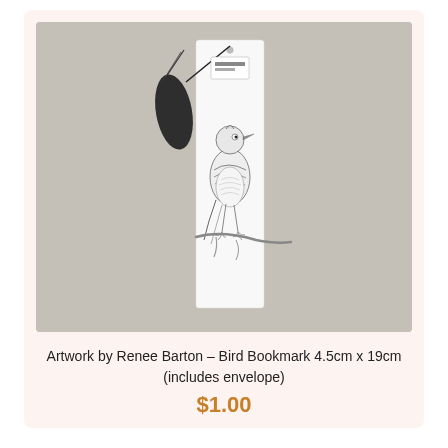[Figure (photo): A bird bookmark with a black tassel, showing a detailed pencil/ink illustration of a bird perched on a branch. The bookmark is white with a small logo at the top. The bookmark is photographed on a grey textured background.]
Artwork by Renee Barton – Bird Bookmark 4.5cm x 19cm (includes envelope)
$1.00